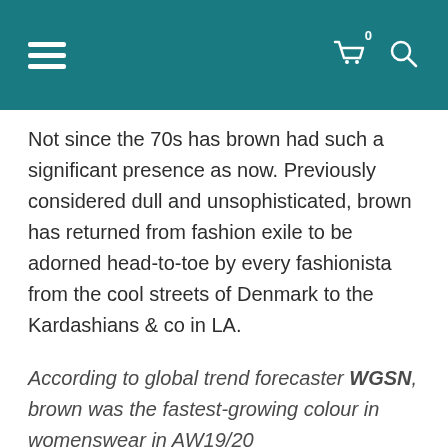Navigation header with hamburger menu, cart icon with badge 0, and search icon
Not since the 70s has brown had such a significant presence as now. Previously considered dull and unsophisticated, brown has returned from fashion exile to be adorned head-to-toe by every fashionista from the cool streets of Denmark to the Kardashians & co in LA.
According to global trend forecaster WGSN, brown was the fastest-growing colour in womenswear in AW19/20
The progression from beige to brown is completely logical as the trend for favouring earthy, neutral tones shows no signs of